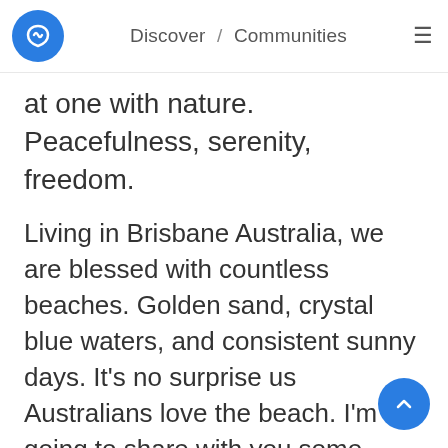Discover / Communities
at one with nature. Peacefulness, serenity, freedom.
Living in Brisbane Australia, we are blessed with countless beaches. Golden sand, crystal blue waters, and consistent sunny days. It's no surprise us Australians love the beach. I'm going to share with you some photos of my favourite spots.
Apollo Bay, Melbourne